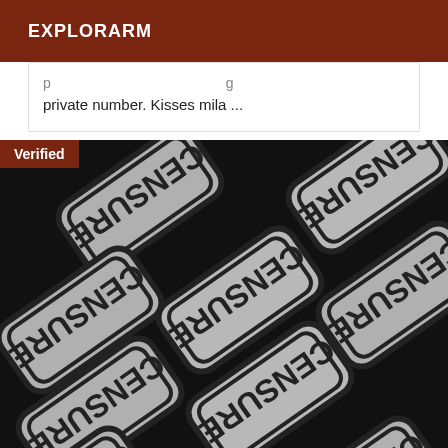EXPLORARM
private number. Kisses mila ...
[Figure (photo): Multiple censure stamp tiles arranged diagonally on a dark background, with a 'Verified' badge in the top-left corner]